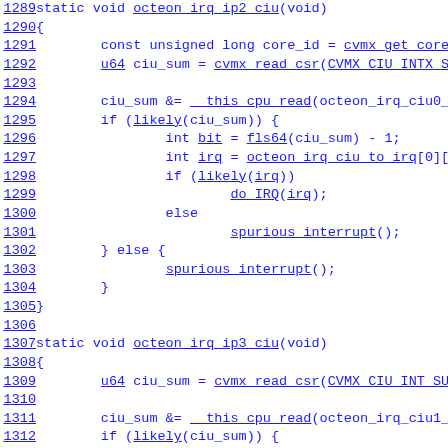Source code listing, lines 1289-1314, showing octeon_irq_ip2_ciu and octeon_irq_ip3_ciu C functions with interrupt handling logic.